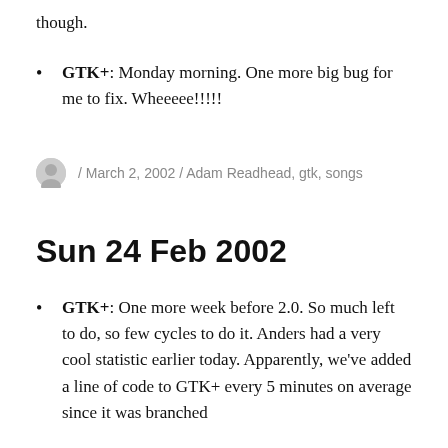though.
GTK+: Monday morning. One more big bug for me to fix. Wheeeee!!!!!
/ March 2, 2002 / Adam Readhead, gtk, songs
Sun 24 Feb 2002
GTK+: One more week before 2.0. So much left to do, so few cycles to do it. Anders had a very cool statistic earlier today. Apparently, we've added a line of code to GTK+ every 5 minutes on average since it was branched